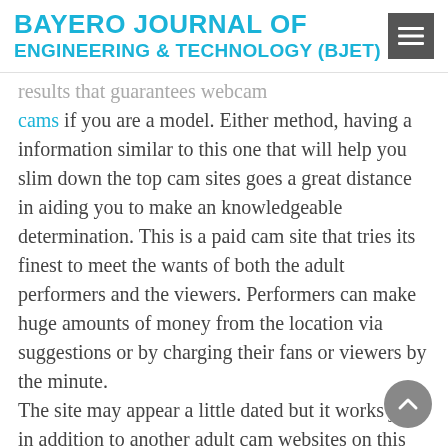BAYERO JOURNAL OF ENGINEERING & TECHNOLOGY (BJET)
results that guarantees webcam cams if you are a model. Either method, having a information similar to this one that will help you slim down the top cam sites goes a great distance in aiding you to make an knowledgeable determination. This is a paid cam site that tries its finest to meet the wants of both the adult performers and the viewers. Performers can make huge amounts of money from the location via suggestions or by charging their fans or viewers by the minute. The site may appear a little dated but it works just in addition to another adult cam websites on this record. There are thousands of models online at any given